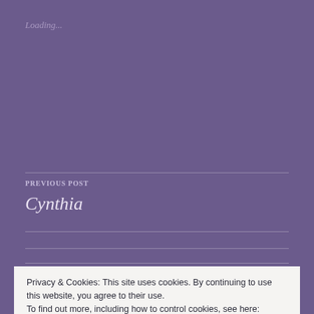Loading...
PREVIOUS POST
Cynthia
Privacy & Cookies: This site uses cookies. By continuing to use this website, you agree to their use.
To find out more, including how to control cookies, see here: Cookie Policy
Close and accept